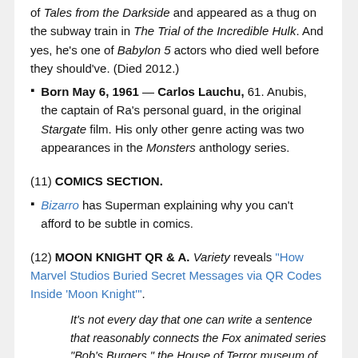of Tales from the Darkside and appeared as a thug on the subway train in The Trial of the Incredible Hulk. And yes, he's one of Babylon 5 actors who died well before they should've. (Died 2012.)
Born May 6, 1961 — Carlos Lauchu, 61. Anubis, the captain of Ra's personal guard, in the original Stargate film. His only other genre acting was two appearances in the Monsters anthology series.
(11) COMICS SECTION.
Bizarro has Superman explaining why you can't afford to be subtle in comics.
(12) MOON KNIGHT QR & A. Variety reveals "How Marvel Studios Buried Secret Messages via QR Codes Inside 'Moon Knight'".
It's not every day that one can write a sentence that reasonably connects the Fox animated series "Bob's Burgers," the House of Terror museum of